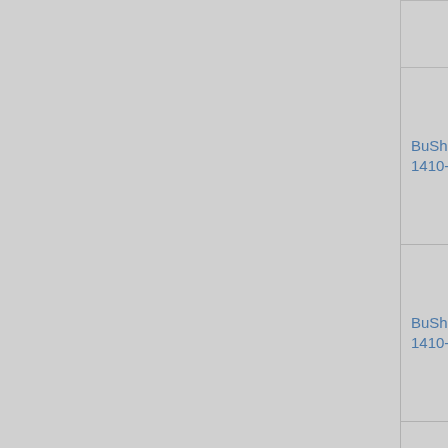|  | Directive | Date | Subject |
| --- | --- | --- | --- |
|  | BuShips Directive 1410-07 |  | ...153) |
|  | BuShips Directive 1410-06 | 21 October 2014 | Commissioning of HMS Hawk (CA-428) |
|  | BuShips Directive 1410-05 | 15 October 2014 | Commissioning of HMS Helen (BC-570) |
|  | BuShips Directive 1410-04 | 12 October 2014 | Change of Command, HMS Truculent (BC-593) |
|  | BuShips Directive 1410-03 | 06 October 2014 | Change of Command, HMS Enterprise (BC-480) |
|  | BuShips Directive 1410-02 | 04 October 2014 | Decommissioning of HMS Windsong (DD-11...) |